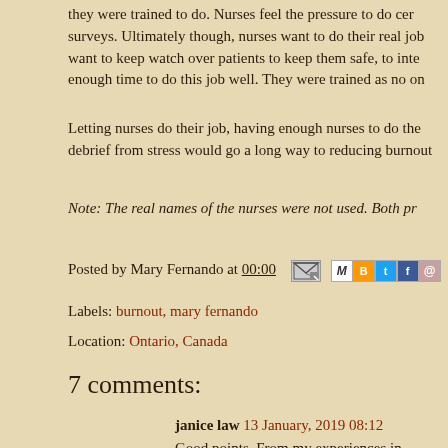they were trained to do. Nurses feel the pressure to do certain things because of surveys. Ultimately though, nurses want to do their real job. Nurses want to keep watch over patients to keep them safe, to inte… enough time to do this job well. They were trained as no on…
Letting nurses do their job, having enough nurses to do the… debrief from stress would go a long way to reducing burnou…
Note: The real names of the nurses were not used. Both pr…
Posted by Mary Fernando at 00:00
Labels: burnout, mary fernando
Location: Ontario, Canada
7 comments:
janice law  13 January, 2019 08:12
Good points. From my experiences in hospitals, th…